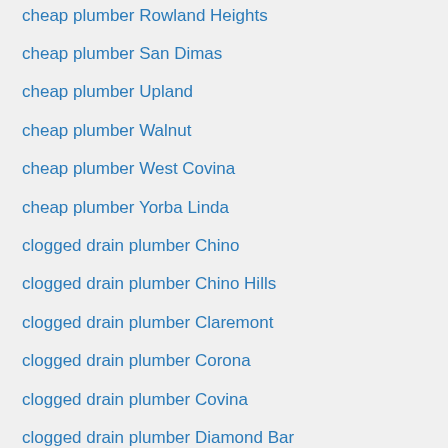cheap plumber Rowland Heights
cheap plumber San Dimas
cheap plumber Upland
cheap plumber Walnut
cheap plumber West Covina
cheap plumber Yorba Linda
clogged drain plumber Chino
clogged drain plumber Chino Hills
clogged drain plumber Claremont
clogged drain plumber Corona
clogged drain plumber Covina
clogged drain plumber Diamond Bar
clogged drain plumber Glendora
clogged drain plumber La Verne